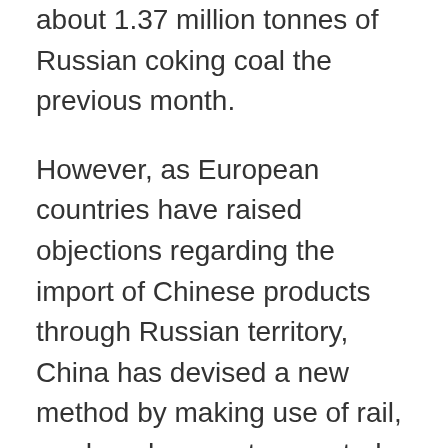about 1.37 million tonnes of Russian coking coal the previous month.
However, as European countries have raised objections regarding the import of Chinese products through Russian territory, China has devised a new method by making use of rail, road, and seaports reported, The Hong Kong Post. The new route connecting Xi'an in China with Germany passes through Kazakhstan, Caspian Sea, Black Sea to name a few before entering Romania and Bulgaria.
The new route will help China in the...